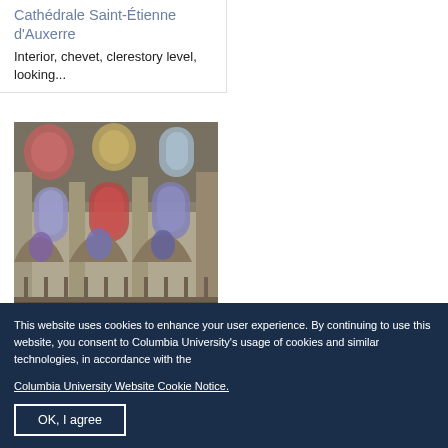Cathédrale Saint-Étienne d'Auxerre
Interior, chevet, clerestory level, looking...
[Figure (photo): Interior photograph of Cathédrale Saint-Étienne d'Auxerre showing the chevet clerestory level with Gothic arched windows and stained glass]
This website uses cookies to enhance your user experience. By continuing to use this website, you consent to Columbia University's usage of cookies and similar technologies, in accordance with the Columbia University Website Cookie Notice.
OK, I agree